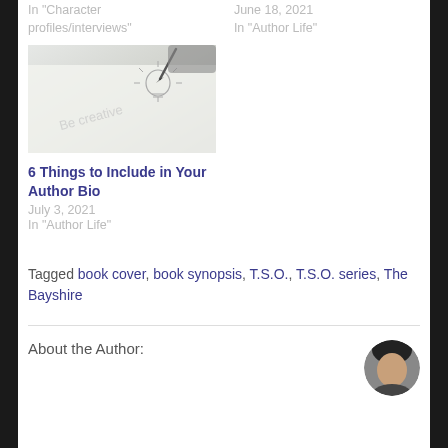In 'Character profiles/interviews'
June 18, 2021
In 'Author Life'
[Figure (photo): A hand holding a pen writing 'Be creative' with a light bulb sketch on paper]
6 Things to Include in Your Author Bio
July 3, 2021
In 'Author Life'
Tagged book cover, book synopsis, T.S.O., T.S.O. series, The Bayshire
About the Author:
[Figure (photo): Circular avatar photo of the author]